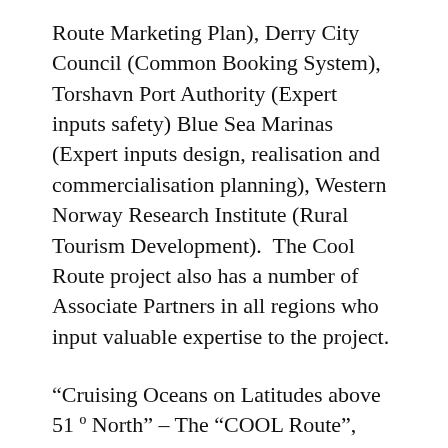Route Marketing Plan), Derry City Council (Common Booking System), Torshavn Port Authority (Expert inputs safety) Blue Sea Marinas (Expert inputs design, realisation and commercialisation planning), Western Norway Research Institute (Rural Tourism Development).  The Cool Route project also has a number of Associate Partners in all regions who input valuable expertise to the project.
“Cruising Oceans on Latitudes above 51 º North” – The “COOL Route”, was approved by the NPA Interreg Programme and will research all of the logistical, business, and marketing planning for the route which will support other complimentary maritime, and